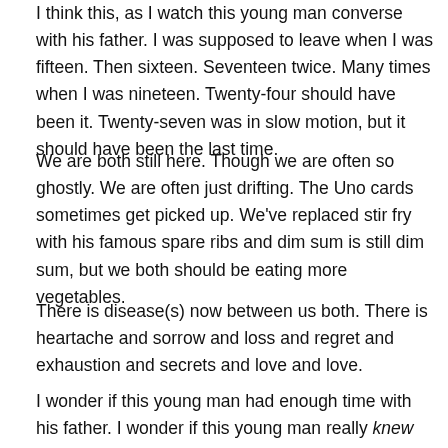I think this, as I watch this young man converse with his father. I was supposed to leave when I was fifteen. Then sixteen. Seventeen twice. Many times when I was nineteen. Twenty-four should have been it. Twenty-seven was in slow motion, but it should have been the last time.
We are both still here. Though we are often so ghostly. We are often just drifting. The Uno cards sometimes get picked up. We've replaced stir fry with his famous spare ribs and dim sum is still dim sum, but we both should be eating more vegetables.
There is disease(s) now between us both. There is heartache and sorrow and loss and regret and exhaustion and secrets and love and love.
I wonder if this young man had enough time with his father. I wonder if this young man really knew his father. I